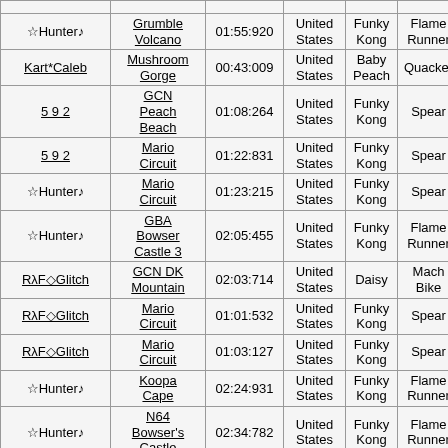| Player | Track | Time | Country | Character | Vehicle | Mode | Vers |  |
| --- | --- | --- | --- | --- | --- | --- | --- | --- |
| ☆Hunter♪ | Grumble Volcano | 01:55:920 | United States | Funky Kong | Flame Runner | WN | M | 0 |
| Kart*Caleb | Mushroom Gorge | 00:43:009 | United States | Baby Peach | Quacker | WW | M | 0 |
| 5 9 2 | GCN Peach Beach | 01:08:264 | United States | Funky Kong | Spear | WN | M | 0 |
| 5 9 2 | Mario Circuit | 01:22:831 | United States | Funky Kong | Spear | WN | M | 0 |
| ☆Hunter♪ | Mario Circuit | 01:23:215 | United States | Funky Kong | Spear | WN | M | 0 |
| ☆Hunter♪ | GBA Bowser Castle 3 | 02:05:455 | United States | Funky Kong | Flame Runner | WN | M | 0 |
| RλF◇Glitch | GCN DK Mountain | 02:03:714 | United States | Daisy | Mach Bike | WN | M | 0 |
| RλF◇Glitch | Mario Circuit | 01:01:532 | United States | Funky Kong | Spear | WN | M | 0 |
| RλF◇Glitch | Mario Circuit | 01:03:127 | United States | Funky Kong | Spear | WN | M | 0 |
| ☆Hunter♪ | Koopa Cape | 02:24:931 | United States | Funky Kong | Flame Runner | WN | M | 0 |
| ☆Hunter♪ | N64 Bowser's Castle | 02:34:782 | United States | Funky Kong | Flame Runner | WN | M | 0 |
|  | GBA Shy... |  | United... |  |  |  |  |  |